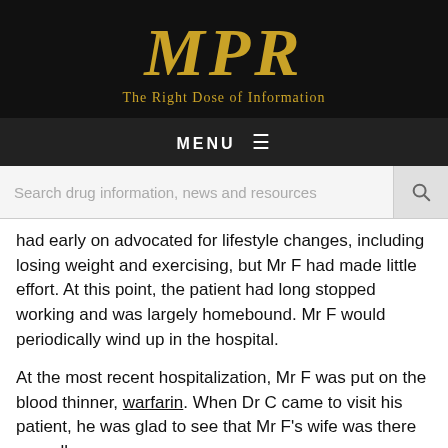[Figure (logo): MPR logo with tagline 'The Right Dose of Information' on black background]
MENU ☰
Search drug information, news and resources
had early on advocated for lifestyle changes, including losing weight and exercising, but Mr F had made little effort. At this point, the patient had long stopped working and was largely homebound. Mr F would periodically wind up in the hospital.
At the most recent hospitalization, Mr F was put on the blood thinner, warfarin. When Dr C came to visit his patient, he was glad to see that Mr F's wife was there as well.
"You're going to be discharged soon," the physician told his patient. "But with this new medicine you are on, you are